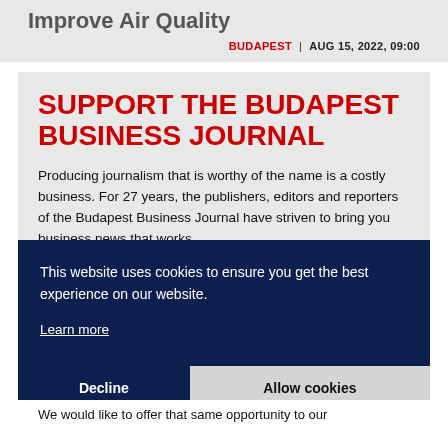Improve Air Quality
BUDAPEST | AUG 15, 2022, 09:00
SUPPORT THE BUDAPEST BUSINESS JOURNAL
Producing journalism that is worthy of the name is a costly business. For 27 years, the publishers, editors and reporters of the Budapest Business Journal have striven to bring you business news that works,
This website uses cookies to ensure you get the best experience on our website.
Learn more
Decline
Allow cookies
We would like to offer that same opportunity to our